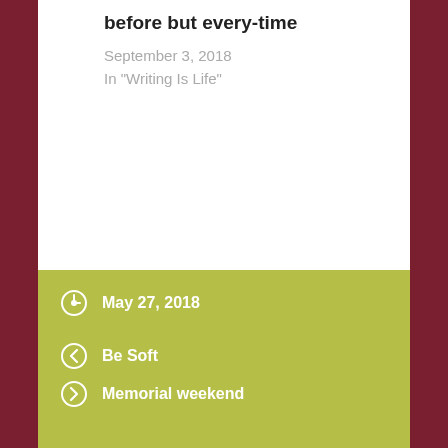before but every-time
September 3, 2018
In "Writing Is Life"
May 27, 2018
Be Soft
Memorial weekend
14 thoughts on “The Liebster Award!”